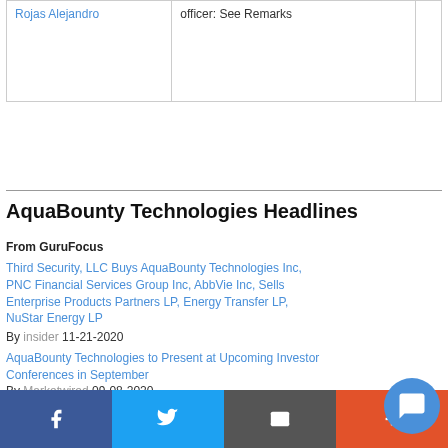| Name | Role |  |
| --- | --- | --- |
| Rojas Alejandro | officer: See Remarks |  |
AquaBounty Technologies Headlines
From GuruFocus
Third Security, LLC Buys AquaBounty Technologies Inc, PNC Financial Services Group Inc, AbbVie Inc, Sells Enterprise Products Partners LP, Energy Transfer LP, NuStar Energy LP
By insider 11-21-2020
AquaBounty Technologies to Present at Upcoming Investor Conferences in September
By Marketwired 09-08-2020
AquaBounty Technologies Provides Progress Update on Planned 10,000 Metric Ton Salmon Farm in Pioneer, Ohio